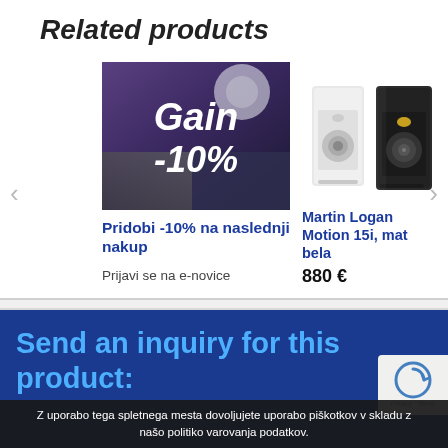Related products
[Figure (photo): Promotional banner with text Gain -10% overlaid on audio equipment background]
Pridobi -10% na naslednji nakup
Prijavi se na e-novice
[Figure (photo): Martin Logan Motion 15i bookshelf speakers in matte white and black finish]
Martin Logan Motion 15i, mat bela
880 €
Send an inquiry for this product:
Z uporabo tega spletnega mesta dovoljujete uporabo piškotkov v skladu z našo politiko varovanja podatkov.